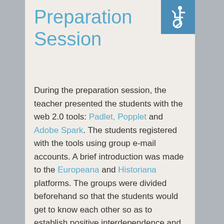Preparation Session
[Figure (illustration): Accessibility icon (wheelchair symbol) in white on teal/blue background square in top-right corner]
During the preparation session, the teacher presented the students with the web 2.0 tools: Padlet, Popplet and Adobe Spark. The students registered with the tools using group e-mail accounts. A brief introduction was made to the Europeana and Historiana platforms. The groups were divided beforehand so that the students would get to know each other so as to establish positive interdependence and promotive interaction among the members.